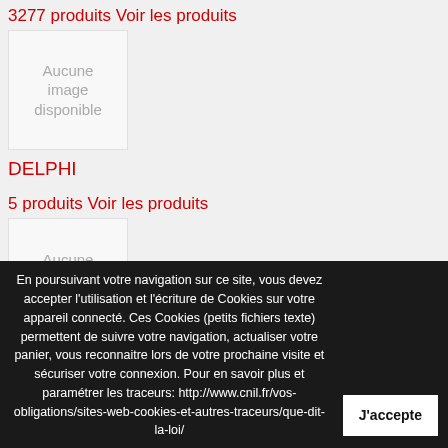3277 produits Voir les produits
[Figure (photo): Aucune image disponible placeholder box]
DELPHI
5 produits Voir les produits
[Figure (photo): Aucune image disponible placeholder box]
En poursuivant votre navigation sur ce site, vous devez accepter l'utilisation et l'écriture de Cookies sur votre appareil connecté. Ces Cookies (petits fichiers texte) permettent de suivre votre navigation, actualiser votre panier, vous reconnaitre lors de votre prochaine visite et sécuriser votre connexion. Pour en savoir plus et paramétrer les traceurs: http://www.cnil.fr/vos-obligations/sites-web-cookies-et-autres-traceurs/que-dit-la-loi/